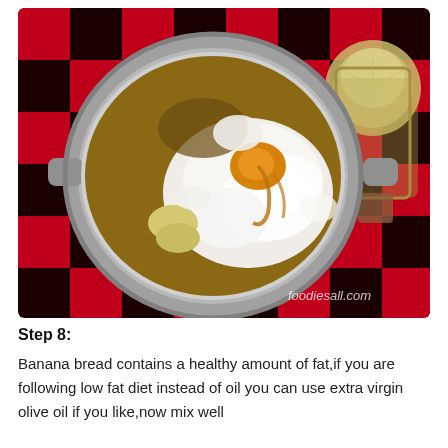[Figure (photo): Top-down view of a stainless steel mixing bowl on a red and black checkerboard tablecloth, containing flour, mashed banana, egg yolk, and other ingredients for banana bread. A glass of oil is visible in the upper right corner. Watermark reads 'foodiesall.com'.]
Step 8:
Banana bread contains a healthy amount of fat,if you are following low fat diet instead of oil you can use extra virgin olive oil if you like,now mix well